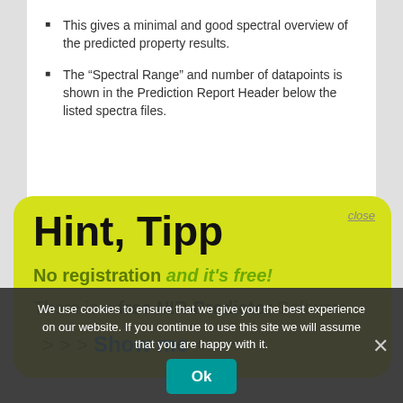This gives a minimal and good spectral overview of the predicted property results.
The “Spectral Range” and number of datapoints is shown in the Prediction Report Header below the listed spectra files.
[Figure (screenshot): Yellow rounded-rectangle popup overlay with title 'Hint, Tipp', text 'No registration and it's free!', 'There is a free NIR-Predictor Software.', and '>>> Show me <<<' link. Has a 'close' button in top right corner.]
We use cookies to ensure that we give you the best experience on our website. If you continue to use this site we will assume that you are happy with it.
Note that the median property spectrum is the median from the predicted property pobulation